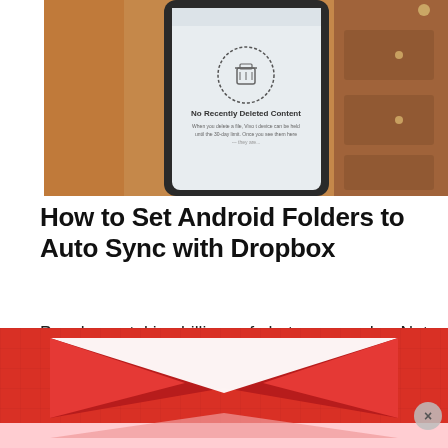[Figure (photo): Smartphone screen showing 'No Recently Deleted Content' message, with a trash bin icon, placed on a wooden surface background.]
How to Set Android Folders to Auto Sync with Dropbox
People are taking billions of photos every day. Not only that, we are saving images from every social source, including Facebook, Twitter, WhatsApp, and Instagram....
[Figure (photo): Red and white Gmail envelope logo on a red grid background, partially visible at bottom of page.]